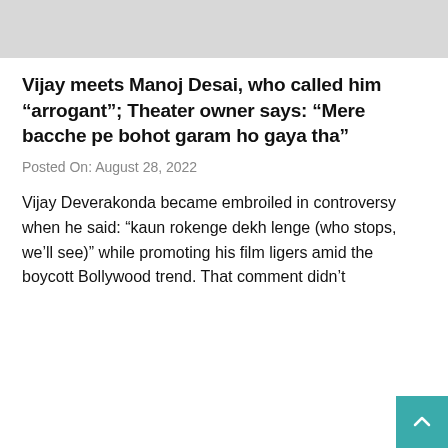[Figure (photo): Gray placeholder image at top of page]
Vijay meets Manoj Desai, who called him “arrogant”; Theater owner says: “Mere bacche pe bohot garam ho gaya tha”
Posted On: August 28, 2022
Vijay Deverakonda became embroiled in controversy when he said: “kaun rokenge dekh lenge (who stops, we’ll see)” while promoting his film ligers amid the boycott Bollywood trend. That comment didn’t